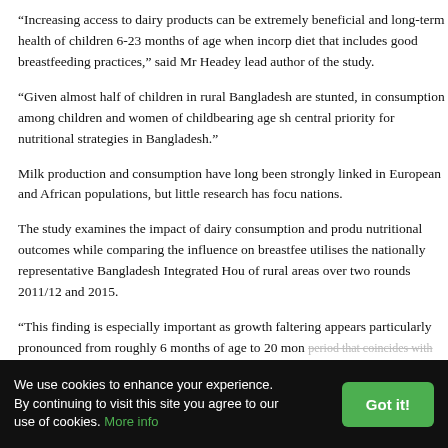“Increasing access to dairy products can be extremely beneficial and long-term health of children 6-23 months of age when incorporated into a diet that includes good breastfeeding practices,” said Mr Headey, lead author of the study.
“Given almost half of children in rural Bangladesh are stunted, increasing consumption among children and women of childbearing age should be a central priority for nutritional strategies in Bangladesh.”
Milk production and consumption have long been strongly linked to growth in European and African populations, but little research has focused on South Asian nations.
The study examines the impact of dairy consumption and production on child nutritional outcomes while comparing the influence on breastfeeding and utilises the nationally representative Bangladesh Integrated Household Survey of rural areas over two rounds 2011/12 and 2015.
“This finding is especially important as growth faltering appears to be particularly pronounced from roughly 6 months of age to 20 months, a period that coincides with the introduction of complementary feeding.
We use cookies to enhance your experience. By continuing to visit this site you agree to our use of cookies. More info